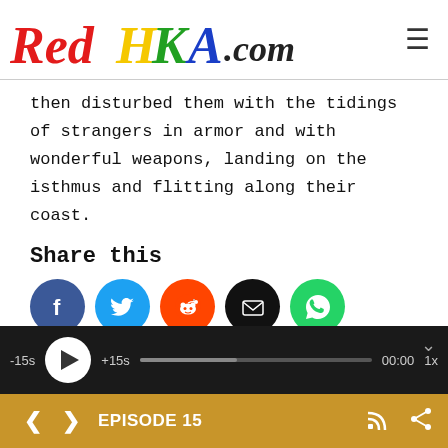[Figure (logo): RedHKA.com website logo with colorful stylized lettering and hamburger menu icon]
then disturbed them with the tidings of strangers in armor and with wonderful weapons, landing on the isthmus and flitting along their coast.
Share this
[Figure (infographic): Row of 5 social share buttons: Facebook (blue circle with f), Twitter (light blue circle with bird), Reddit (orange circle with alien), Email (black circle with envelope), WhatsApp (green circle with phone)]
[Figure (other): Audio player bar with -15s, play button, +15s, progress bar at ~42%, time 00:00, speed 1x, and collapse chevron]
< > EPISODE 15